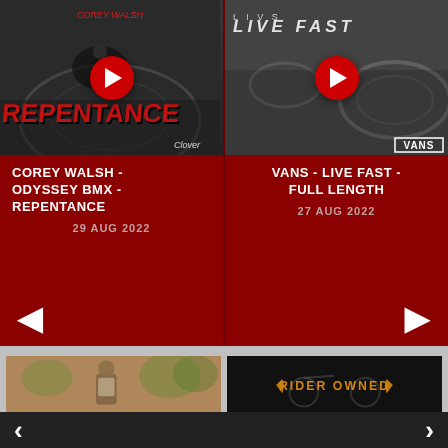[Figure (screenshot): Thumbnail for Corey Walsh Odyssey BMX Repentance video with red stylized text and play button]
[Figure (screenshot): Thumbnail for Vans Live Fast Full Length video with aerial skate park and play button]
COREY WALSH - ODYSSEY BMX - REPENTANCE
29 AUG 2022
VANS - LIVE FAST - FULL LENGTH
27 AUG 2022
[Figure (screenshot): Left navigation arrow on dark red background]
[Figure (screenshot): Right navigation arrow on dark red background]
[Figure (photo): Sepia-toned photo of a person outdoors with trees in background]
[Figure (screenshot): Dark thumbnail with RIDER OWNED text in orange with lightning bolt graphics]
[Figure (screenshot): Bottom navigation bar with left and right arrows]